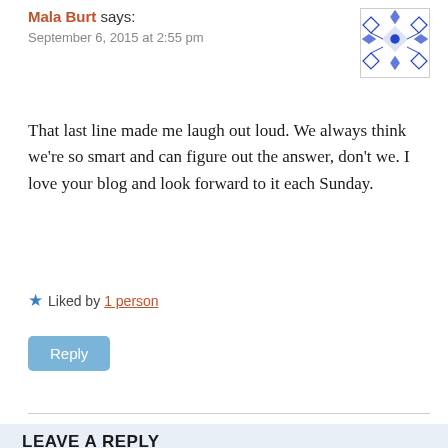Mala Burt says:
September 6, 2015 at 2:55 pm
[Figure (illustration): Avatar image with blue geometric/diamond pattern on white background]
That last line made me laugh out loud. We always think we're so smart and can figure out the answer, don't we. I love your blog and look forward to it each Sunday.
★ Liked by 1 person
Reply
LEAVE A REPLY
Your email address will not be published. Required fields are marked *
Comment *